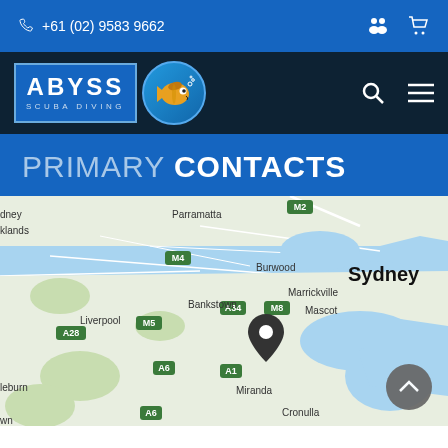+61 (02) 9583 9662
[Figure (logo): Abyss Scuba Diving logo with text ABYSS SCUBA DIVING and a fish mascot in a blue circle]
PRIMARY CONTACTS
[Figure (map): Google Maps view of Sydney area, Australia, showing suburbs including Parramatta, Burwood, Bankstown, Liverpool, Marrickville, Mascot, Miranda, Cronulla, with a map pin marker near Sutherland/Cronulla area]